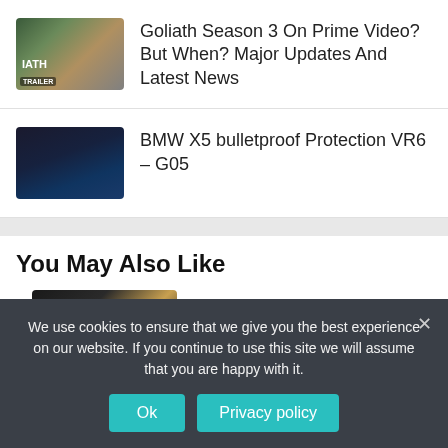Goliath Season 3 On Prime Video? But When? Major Updates And Latest News
BMW X5 bulletproof Protection VR6 – G05
You May Also Like
Netflix released ‘The SPY’ trailer starring Sacha Baron Cohen .
We use cookies to ensure that we give you the best experience on our website. If you continue to use this site we will assume that you are happy with it.